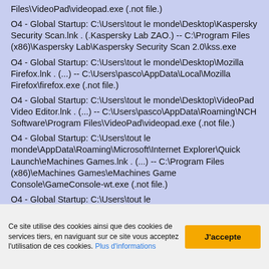Files\VideoPad\videopad.exe (.not file.)
O4 - Global Startup: C:\Users\tout le monde\Desktop\Kaspersky Security Scan.lnk . (.Kaspersky Lab ZAO.) -- C:\Program Files (x86)\Kaspersky Lab\Kaspersky Security Scan 2.0\kss.exe
O4 - Global Startup: C:\Users\tout le monde\Desktop\Mozilla Firefox.lnk . (...) -- C:\Users\pasco\AppData\Local\Mozilla Firefox\firefox.exe (.not file.)
O4 - Global Startup: C:\Users\tout le monde\Desktop\VideoPad Video Editor.lnk . (...) -- C:\Users\pasco\AppData\Roaming\NCH Software\Program Files\VideoPad\videopad.exe (.not file.)
O4 - Global Startup: C:\Users\tout le monde\AppData\Roaming\Microsoft\Internet Explorer\Quick Launch\eMachines Games.lnk . (...) -- C:\Program Files (x86)\eMachines Games\eMachines Game Console\GameConsole-wt.exe (.not file.)
O4 - Global Startup: C:\Users\tout le monde\AppData\Roaming\Microsoft\Internet Explorer\Quick Launch\Launch Internet Explorer Browser.lnk . ( Microsoft
Ce site utilise des cookies ainsi que des cookies de services tiers, en naviguant sur ce site vous acceptez l'utilisation de ces cookies. Plus d'informations